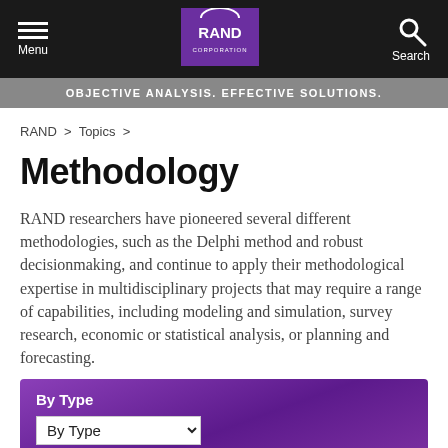Menu | RAND Corporation | Search
OBJECTIVE ANALYSIS. EFFECTIVE SOLUTIONS.
RAND > Topics >
Methodology
RAND researchers have pioneered several different methodologies, such as the Delphi method and robust decisionmaking, and continue to apply their methodological expertise in multidisciplinary projects that may require a range of capabilities, including modeling and simulation, survey research, economic or statistical analysis, or planning and forecasting.
By Type